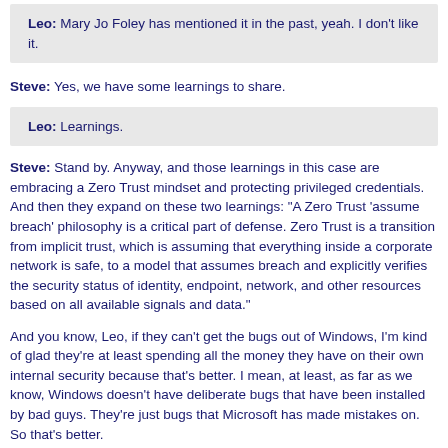Leo: Mary Jo Foley has mentioned it in the past, yeah. I don't like it.
Steve: Yes, we have some learnings to share.
Leo: Learnings.
Steve: Stand by. Anyway, and those learnings in this case are embracing a Zero Trust mindset and protecting privileged credentials. And then they expand on these two learnings: "A Zero Trust 'assume breach' philosophy is a critical part of defense. Zero Trust is a transition from implicit trust, which is assuming that everything inside a corporate network is safe, to a model that assumes breach and explicitly verifies the security status of identity, endpoint, network, and other resources based on all available signals and data."
And you know, Leo, if they can't get the bugs out of Windows, I'm kind of glad they're at least spending all the money they have on their own internal security because that's better. I mean, at least, as far as we know, Windows doesn't have deliberate bugs that have been installed by bad guys. They're just bugs that Microsoft has made mistakes on. So that's better.
And they said: "We've recently shared guidance for using Zero Trust principles to protect against sophisticated attacks like Solorigate." And then they finish: "Protecting credentials is essential. In deployments that connect on-premises infrastructure to the cloud, organizations